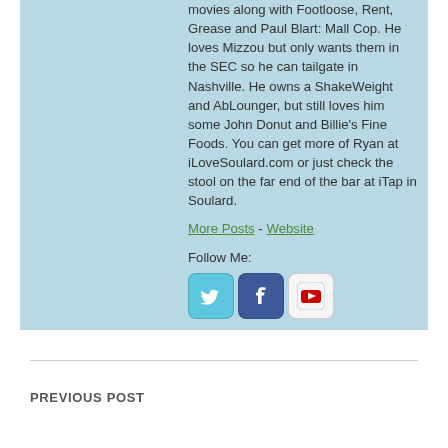movies along with Footloose, Rent, Grease and Paul Blart: Mall Cop. He loves Mizzou but only wants them in the SEC so he can tailgate in Nashville. He owns a ShakeWeight and AbLounger, but still loves him some John Donut and Billie's Fine Foods. You can get more of Ryan at iLoveSoulard.com or just check the stool on the far end of the bar at iTap in Soulard.
More Posts - Website
Follow Me:
[Figure (other): Three social media icons: Twitter (blue bird), Facebook (blue F), YouTube (red play button)]
PREVIOUS POST